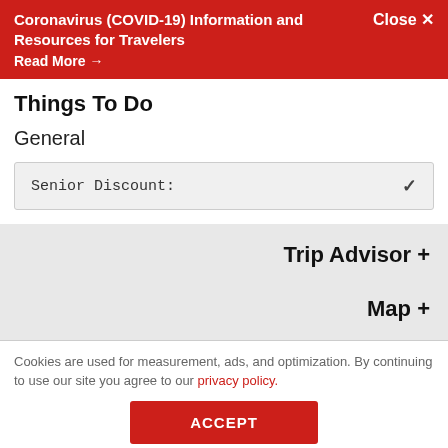Coronavirus (COVID-19) Information and Resources for Travelers
Read More →
Close ✕
Things To Do
General
| Senior Discount: | ✓ |
| --- | --- |
Trip Advisor +
Map +
Cookies are used for measurement, ads, and optimization. By continuing to use our site you agree to our privacy policy.
ACCEPT